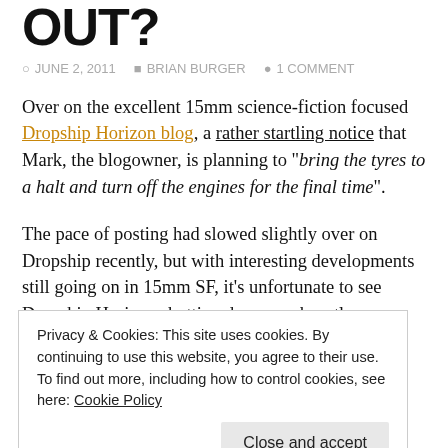OUT?
JUNE 2, 2011   BRIAN BURGER   1 COMMENT
Over on the excellent 15mm science-fiction focused Dropship Horizon blog, a rather startling notice that Mark, the blogowner, is planning to "bring the tyres to a halt and turn off the engines for the final time".
The pace of posting had slowed slightly over on Dropship recently, but with interesting developments still going on in 15mm SF, it's unfortunate to see Dropship Horizon shutting down so abruptly.
Privacy & Cookies: This site uses cookies. By continuing to use this website, you agree to their use.
To find out more, including how to control cookies, see here: Cookie Policy
late in 2010, I certainly understand that people's gaming